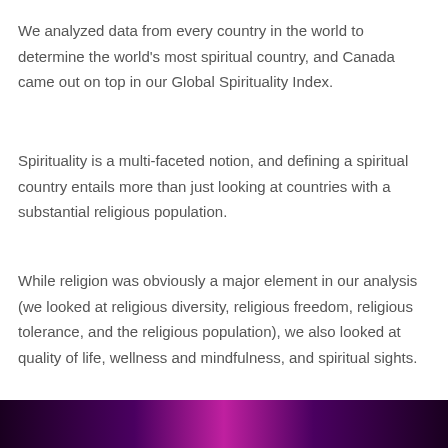We analyzed data from every country in the world to determine the world's most spiritual country, and Canada came out on top in our Global Spirituality Index.
Spirituality is a multi-faceted notion, and defining a spiritual country entails more than just looking at countries with a substantial religious population.
While religion was obviously a major element in our analysis (we looked at religious diversity, religious freedom, religious tolerance, and the religious population), we also looked at quality of life, wellness and mindfulness, and spiritual sights.
[Figure (photo): Dark purple/magenta image strip at bottom of page, partially visible]